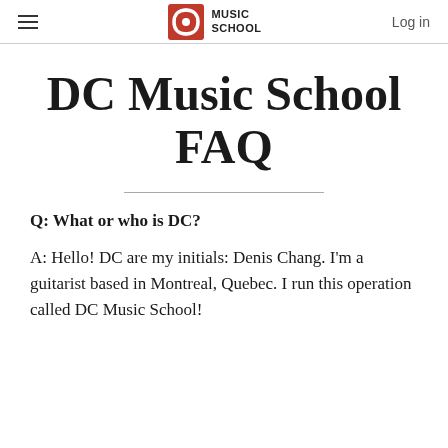DC Music School FAQ — navigation header with logo and Log in link
DC Music School FAQ
Q: What or who is DC?
A: Hello! DC are my initials: Denis Chang. I'm a guitarist based in Montreal, Quebec. I run this operation called DC Music School!